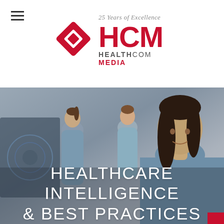[Figure (logo): HCM Healthcom Media logo with red diamond shape and '25 Years of Excellence' tagline]
[Figure (photo): Background photo of healthcare professionals (nurses/doctors) in a clinical setting, shown in a muted grayish tone]
HEALTHCARE INTELLIGENCE & BEST PRACTICES